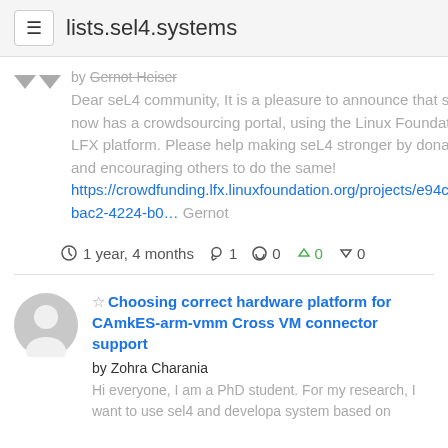lists.sel4.systems
by Gernot Heiser
Dear seL4 community, It is a pleasure to announce that seL4 now has a crowdsourcing portal, using the Linux Foundation's LFX platform. Please help making seL4 stronger by donating, and encouraging others to do the same! https://crowdfunding.lfx.linuxfoundation.org/projects/e94c998c-bac2-4224-b0… Gernot
1 year, 4 months  1  0  0  0
Choosing correct hardware platform for CAmkES-arm-vmm Cross VM connector support
by Zohra Charania
Hi everyone, I am a PhD student. For my research, I want to use sel4 and developa system based on